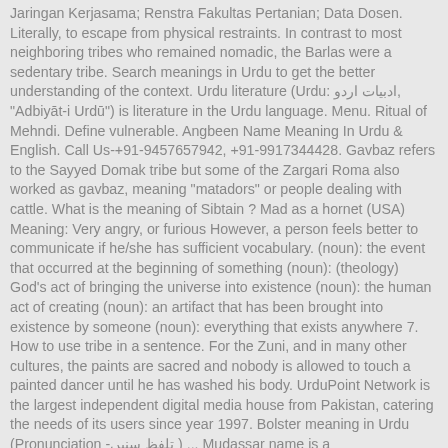Jaringan Kerjasama; Renstra Fakultas Pertanian; Data Dosen. Literally, to escape from physical restraints. In contrast to most neighboring tribes who remained nomadic, the Barlas were a sedentary tribe. Search meanings in Urdu to get the better understanding of the context. Urdu literature (Urdu: ادبیات اردو, "Adbiyāt-i Urdū") is literature in the Urdu language. Menu. Ritual of Mehndi. Define vulnerable. Angbeen Name Meaning In Urdu & English. Call Us-+91-9457657942, +91-9917344428. Gavbaz refers to the Sayyed Domak tribe but some of the Zargari Roma also worked as gavbaz, meaning "matadors" or people dealing with cattle. What is the meaning of Sibtain ? Mad as a hornet (USA) Meaning: Very angry, or furious However, a person feels better to communicate if he/she has sufficient vocabulary. (noun): the event that occurred at the beginning of something (noun): (theology) God's act of bringing the universe into existence (noun): the human act of creating (noun): an artifact that has been brought into existence by someone (noun): everything that exists anywhere 7. How to use tribe in a sentence. For the Zuni, and in many other cultures, the paints are sacred and nobody is allowed to touch a painted dancer until he has washed his body. UrduPoint Network is the largest independent digital media house from Pakistan, catering the needs of its users since year 1997. Bolster meaning in Urdu (Pronunciation -تلفظ سنیں) ... Mudassar name is a